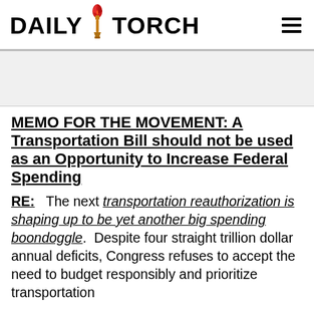DAILY TORCH
[Figure (other): Advertisement/blank banner area]
MEMO FOR THE MOVEMENT: A Transportation Bill should not be used as an Opportunity to Increase Federal Spending
RE: The next transportation reauthorization is shaping up to be yet another big spending boondoggle. Despite four straight trillion dollar annual deficits, Congress refuses to accept the need to budget responsibly and prioritize transportation